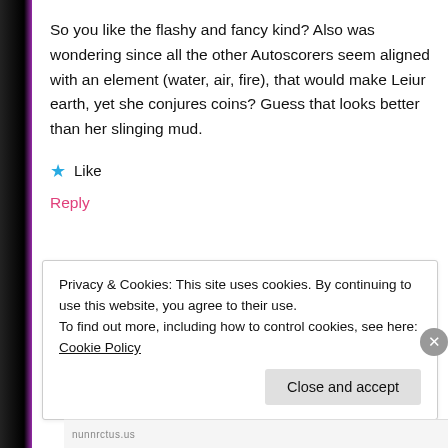[Figure (illustration): Left side dark strip with pink/magenta colored partial graphic element]
So you like the flashy and fancy kind? Also was wondering since all the other Autoscorers seem aligned with an element (water, air, fire), that would make Leiur earth, yet she conjures coins? Guess that looks better than her slinging mud.
★ Like
Reply
Privacy & Cookies: This site uses cookies. By continuing to use this website, you agree to their use. To find out more, including how to control cookies, see here: Cookie Policy
Close and accept
nunnrctus.us